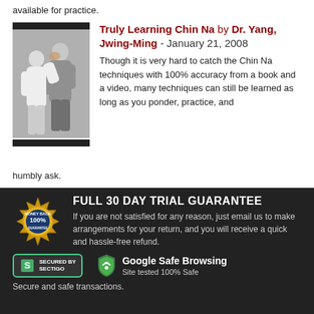available for practice.
[Figure (photo): Two martial artists demonstrating a Chin Na technique, one in white clothing applying a neck/chin hold on another in grey clothing]
Truly Learning Chin Na by Dr. Yang, Jwing-Ming - January 21, 2008
Though it is very hard to catch the Chin Na techniques with 100% accuracy from a book and a video, many techniques can still be learned as long as you ponder, practice, and humbly ask.
FULL 30 DAY TRIAL GUARANTEE
[Figure (illustration): Gold circular money back 100% guarantee badge/seal]
If you are not satisfied for any reason, just email us to make arrangements for your return, and you will receive a quick and hassle-free refund.
[Figure (logo): Secured by Sectigo badge with green border]
[Figure (logo): Google Safe Browsing shield logo - Site tested 100% Safe]
Secure and safe transactions.